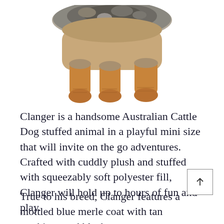[Figure (illustration): Bottom portion of an Australian Cattle Dog stuffed animal plush toy, showing four tan/brown plush legs and feet against a white background, with a gray-and-black mottled fur body visible at the top.]
Clanger is a handsome Australian Cattle Dog stuffed animal in a playful mini size that will invite on the go adventures. Crafted with cuddly plush and stuffed with squeezably soft polyester fill, Clanger will hold up to hours of fun and play.
True to his breed, Clanger features a mottled blue merle coat with tan markings and black